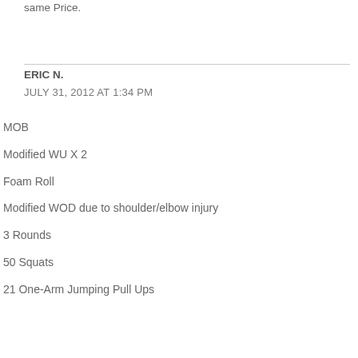same Price.
ERIC N.
JULY 31, 2012 AT 1:34 PM
MOB
Modified WU X 2

Foam Roll

Modified WOD due to shoulder/elbow injury

3 Rounds

50 Squats
21 One-Arm Jumping Pull Ups